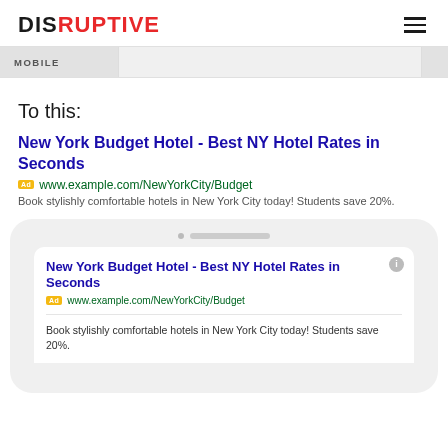DISRUPTIVE
MOBILE
To this:
[Figure (screenshot): Desktop Google ad mockup showing: title 'New York Budget Hotel - Best NY Hotel Rates in Seconds', URL 'www.example.com/NewYorkCity/Budget', description 'Book stylishly comfortable hotels in New York City today! Students save 20%.']
[Figure (screenshot): Mobile phone mockup showing a Google ad: title 'New York Budget Hotel - Best NY Hotel Rates in Seconds', URL 'www.example.com/NewYorkCity/Budget', description 'Book stylishly comfortable hotels in New York City today! Students save 20%.']